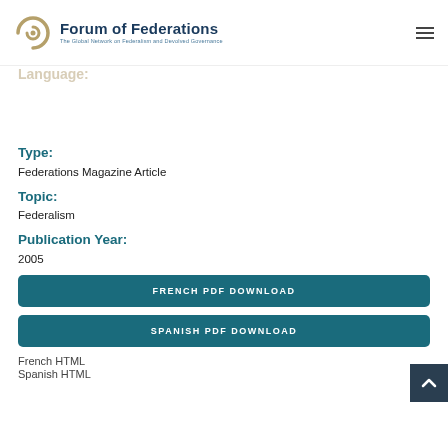Forum of Federations — The Global Network on Federalism and Devolved Governance
Language:
Type:
Federations Magazine Article
Topic:
Federalism
Publication Year:
2005
FRENCH PDF DOWNLOAD
SPANISH PDF DOWNLOAD
French HTML
Spanish HTML